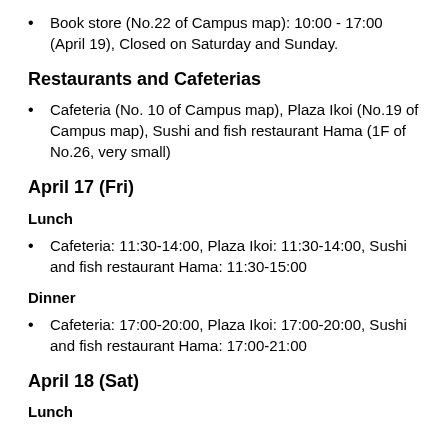Book store (No.22 of Campus map): 10:00 - 17:00 (April 19), Closed on Saturday and Sunday.
Restaurants and Cafeterias
Cafeteria (No. 10 of Campus map), Plaza Ikoi (No.19 of Campus map), Sushi and fish restaurant Hama (1F of No.26, very small)
April 17 (Fri)
Lunch
Cafeteria: 11:30-14:00, Plaza Ikoi: 11:30-14:00, Sushi and fish restaurant Hama: 11:30-15:00
Dinner
Cafeteria: 17:00-20:00, Plaza Ikoi: 17:00-20:00, Sushi and fish restaurant Hama: 17:00-21:00
April 18 (Sat)
Lunch